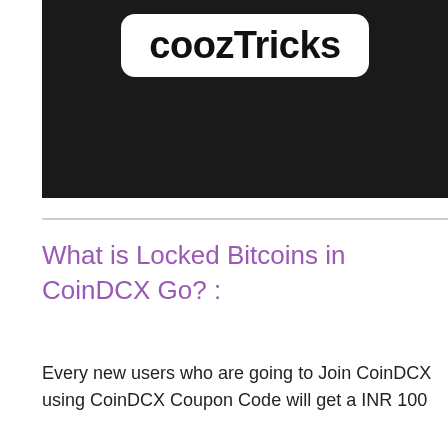[Figure (logo): coozTricks logo — white rounded rectangle with black bold text 'coozTricks' on a dark/black background]
What is Locked Bitcoins in CoinDCX Go? :
Every new users who are going to Join CoinDCX using CoinDCX Coupon Code will get a INR 100